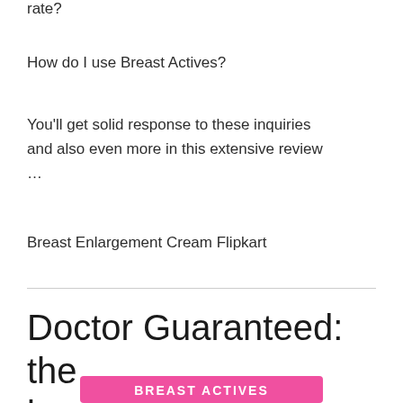rate?
How do I use Breast Actives?
You'll get solid response to these inquiries and also even more in this extensive review …
Breast Enlargement Cream Flipkart
Doctor Guaranteed: the best for breast enhancement (without the surgery!)
[Figure (logo): Pink banner with white text reading BREAST ACTIVES]